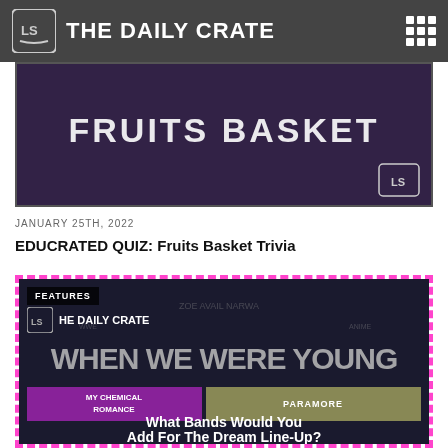THE DAILY CRATE
[Figure (screenshot): Fruits Basket promotional image with white text 'FRUITS BASKET' on dark purple background with The Daily Crate logo]
JANUARY 25TH, 2022
EDUCRATED QUIZ: Fruits Basket Trivia
[Figure (screenshot): The Daily Crate article image with pink dashed border showing 'When We Were Young' festival lineup with My Chemical Romance and Paramore, text reads 'What Bands Would You Add For The Dream Line-Up?' Features badge in top left.]